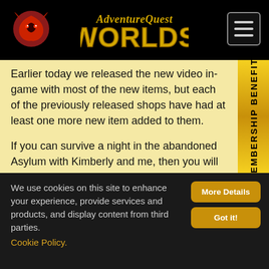AdventureQuest Worlds
Earlier today we released the new video in-game with most of the new items, but each of the previously released shops have had at least one more new item added to them.
If you can survive a night in the abandoned Asylum with Kimberly and me, then you will unlock the Committed Character Page Badge and the special Committed Merge Shop.
I think you'll find the Merge Shop to be especially difficult as it requires three merge items, all rare drops,
We use cookies on this site to enhance your experience, provide services and products, and display content from third parties. Cookie Policy.